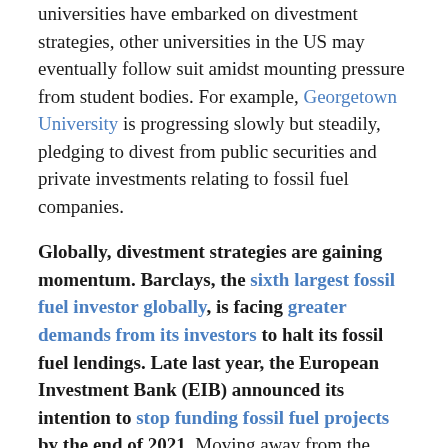universities have embarked on divestment strategies, other universities in the US may eventually follow suit amidst mounting pressure from student bodies. For example, Georgetown University is progressing slowly but steadily, pledging to divest from public securities and private investments relating to fossil fuel companies.
Globally, divestment strategies are gaining momentum. Barclays, the sixth largest fossil fuel investor globally, is facing greater demands from its investors to halt its fossil fuel lendings. Late last year, the European Investment Bank (EIB) announced its intention to stop funding fossil fuel projects by the end of 2021. Moving away from the West, the EY Global Corporate Divestment Study found that business sentiment to divest is at